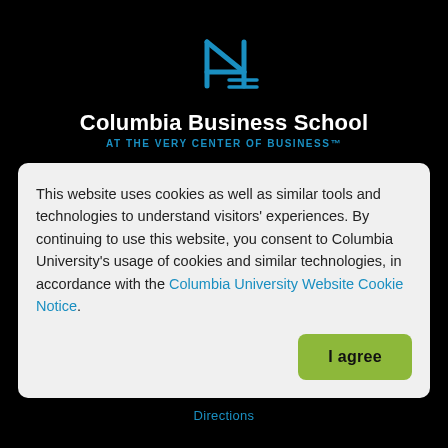[Figure (logo): Columbia Business School logo: a stylized number 4 icon in blue above the text 'Columbia Business School' in white bold, with tagline 'AT THE VERY CENTER OF BUSINESS™' in blue]
This website uses cookies as well as similar tools and technologies to understand visitors' experiences. By continuing to use this website, you consent to Columbia University's usage of cookies and similar technologies, in accordance with the Columbia University Website Cookie Notice.
I agree
Directions